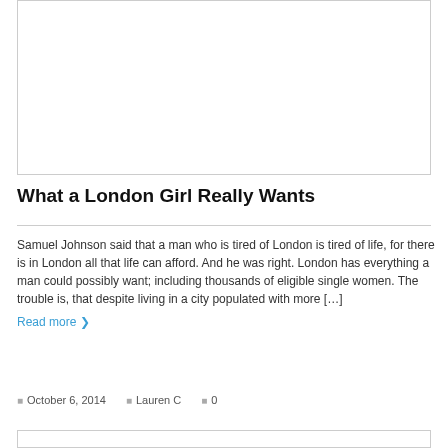[Figure (other): Empty white image box with border]
What a London Girl Really Wants
Samuel Johnson said that a man who is tired of London is tired of life, for there is in London all that life can afford. And he was right. London has everything a man could possibly want; including thousands of eligible single women. The trouble is, that despite living in a city populated with more […]
Read more
October 6, 2014  Lauren C  0
[Figure (other): Empty white image box with border at bottom]